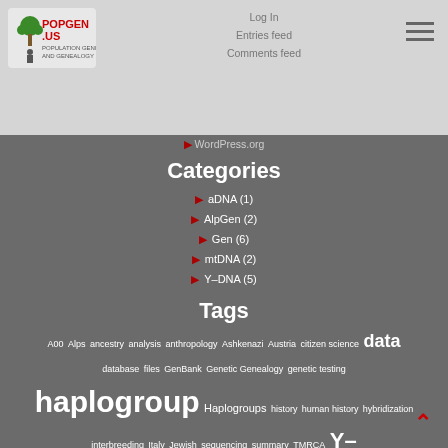PopGen.us | Log in | Entries feed | Comments feed
WordPress.org
Categories
aDNA (1)
AlpGen (2)
Gen (6)
mtDNA (2)
Y-DNA (5)
Tags
A00 Alps ancestry analysis anthropology Ashkenazi Austria citizen science data database files GenBank Genetic Genealogy genetic testing haplogroup Haplogroups history human history hybridization interbreeding Italy Jewish sequencing summary TMRCA Y- Chromosome